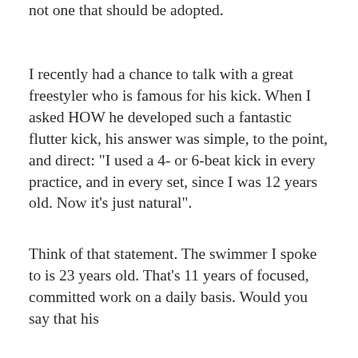not one that should be adopted.
I recently had a chance to talk with a great freestyler who is famous for his kick. When I asked HOW he developed such a fantastic flutter kick, his answer was simple, to the point, and direct: "I used a 4- or 6-beat kick in every practice, and in every set, since I was 12 years old. Now it's just natural".
Think of that statement. The swimmer I spoke to is 23 years old. That's 11 years of focused, committed work on a daily basis. Would you say that his